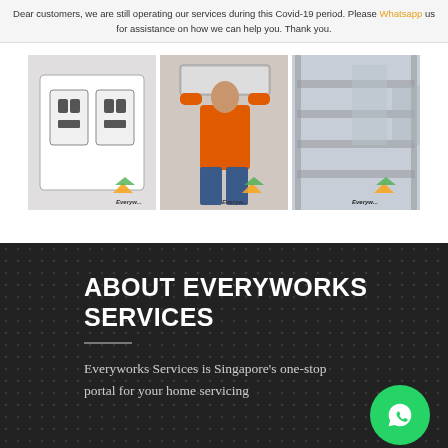Dear customers, we are still operating our services during this Covid-19 period. Please Whatsapp us for assistance on how we can help you. Thank you.
[Figure (photo): Three photos showing home services: electrical outlet, AC technician working on unit, and glass window/door installation. Each photo has an Everyworks logo badge.]
ABOUT EVERYWORKS SERVICES
Everyworks Services is Singapore's one-stop portal for your home servicing